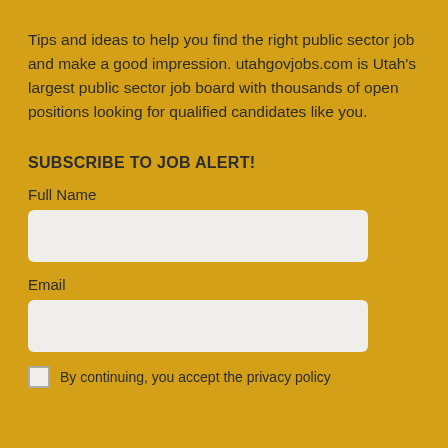Tips and ideas to help you find the right public sector job and make a good impression. utahgovjobs.com is Utah's largest public sector job board with thousands of open positions looking for qualified candidates like you.
SUBSCRIBE TO JOB ALERT!
Full Name
Email
By continuing, you accept the privacy policy